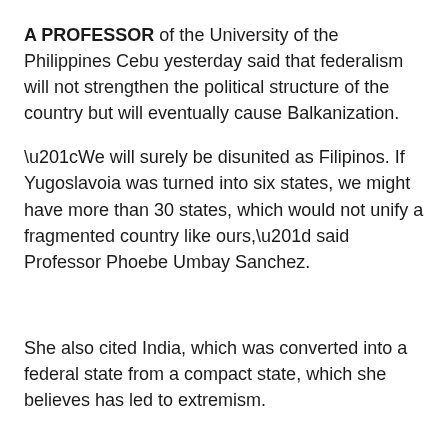A PROFESSOR of the University of the Philippines Cebu yesterday said that federalism will not strengthen the political structure of the country but will eventually cause Balkanization.
“We will surely be disunited as Filipinos. If Yugoslavoia was turned into six states, we might have more than 30 states, which would not unify a fragmented country like ours,” said Professor Phoebe Umbay Sanchez.
She also cited India, which was converted into a federal state from a compact state, which she believes has led to extremism.